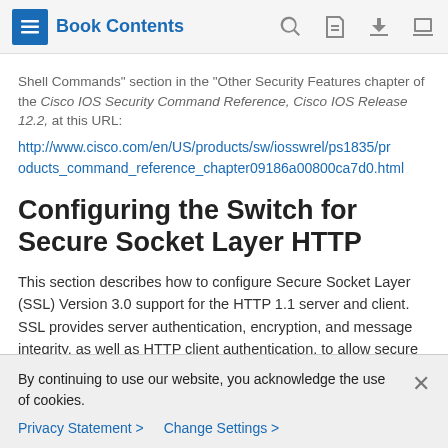Book Contents
Shell Commands section in the Other Security Features chapter of the Cisco IOS Security Command Reference, Cisco IOS Release 12.2, at this URL:
http://www.cisco.com/en/US/products/sw/iosswrel/ps1835/products_command_reference_chapter09186a00800ca7d0.html
Configuring the Switch for Secure Socket Layer HTTP
This section describes how to configure Secure Socket Layer (SSL) Version 3.0 support for the HTTP 1.1 server and client. SSL provides server authentication, encryption, and message integrity, as well as HTTP client authentication, to allow secure HTTP communications.To use this feature, the cryptographic
By continuing to use our website, you acknowledge the use of cookies.
Privacy Statement > Change Settings >